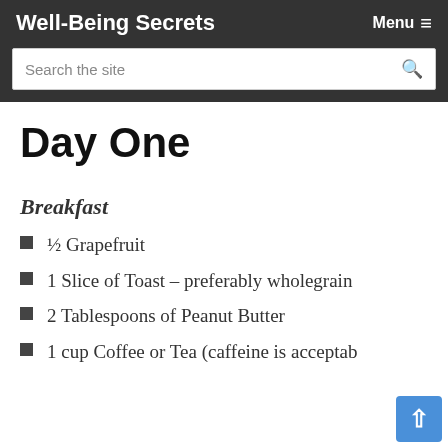Well-Being Secrets
Day One
Breakfast
½ Grapefruit
1 Slice of Toast – preferably wholegrain
2 Tablespoons of Peanut Butter
1 cup Coffee or Tea (caffeine is acceptable